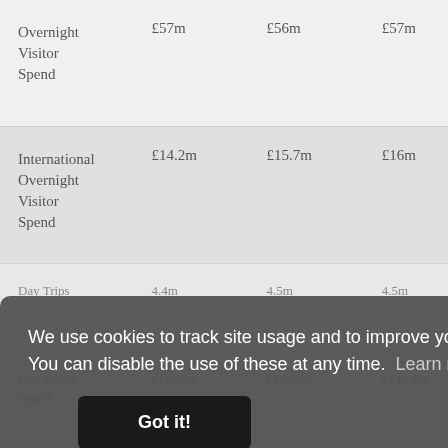| Overnight Visitor Spend | £57m | £56m | £57m | £ |
| International Overnight Visitor Spend | £14.2m | £15.7m | £16m | £ |
| Day Trips | 4.4m | 4.5m | 4.5m | 4 |
| Day Visitor Spend | £125.4m | £139.2m | £142.3m | £ |
We use cookies to track site usage and to improve your experience. You can disable the use of these at any time. Learn more
Got it!